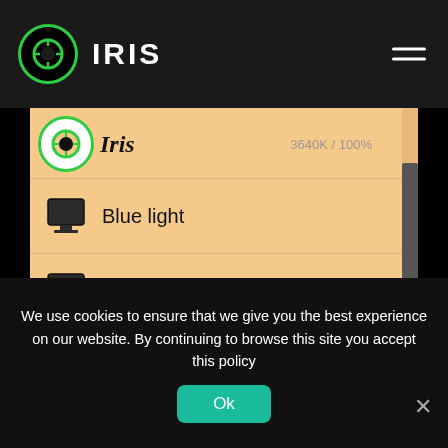IRIS
[Figure (screenshot): Iris application panel showing Blue light, Brightness, Location, Transition, Moon menu items with icons on orange/tan background. Iris logo and 3640K / 100% shown at top.]
We use cookies to ensure that we give you the best experience on our website. By continuing to browse this site you accept this policy
Ok